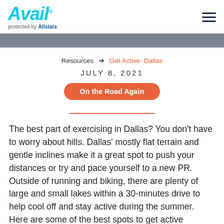Avail protected by Allstate
Resources → Get Active: Dallas
JULY 8, 2021
On the Road Again
The best part of exercising in Dallas? You don't have to worry about hills. Dallas' mostly flat terrain and gentle inclines make it a great spot to push your distances or try and pace yourself to a new PR. Outside of running and biking, there are plenty of large and small lakes within a 30-minutes drive to help cool off and stay active during the summer. Here are some of the best spots to get active